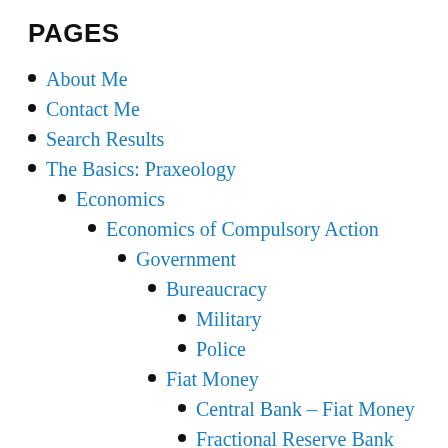PAGES
About Me
Contact Me
Search Results
The Basics: Praxeology
Economics
Economics of Compulsory Action
Government
Bureaucracy
Military
Police
Fiat Money
Central Bank – Fiat Money
Fractional Reserve Bank
Forms of Government